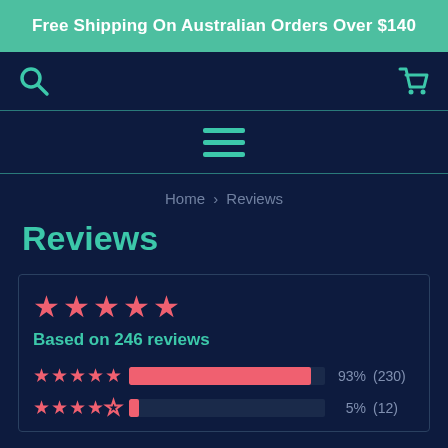Free Shipping On Australian Orders Over $140
[Figure (screenshot): Navigation bar with search icon on left and shopping cart icon on right]
[Figure (screenshot): Hamburger menu icon (three horizontal lines)]
Home › Reviews
Reviews
[Figure (infographic): Reviews summary box showing 5-star rating, Based on 246 reviews, with rating breakdown: 5 stars 93% (230), 4 stars 5% (12)]